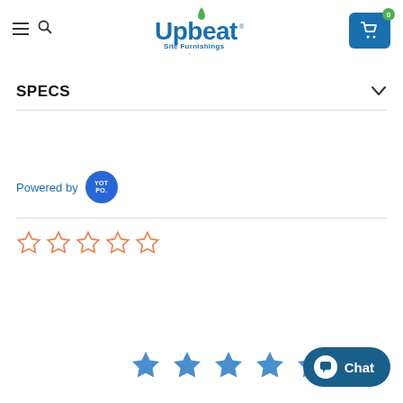[Figure (logo): Upbeat Site Furnishings logo - an ANOVA company]
SPECS
Powered by YOTPO.
[Figure (other): Five empty orange star rating symbols]
[Figure (other): Five filled blue star rating symbols at bottom]
Chat